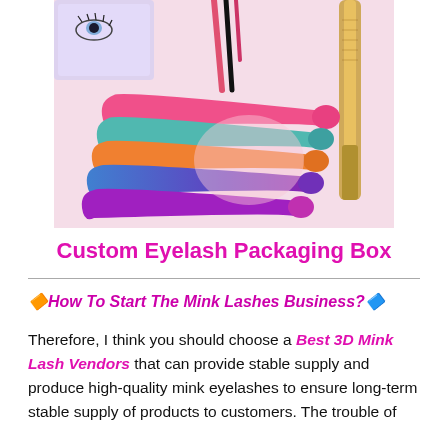[Figure (photo): Photo of colorful eyelash applicator tools (pink, teal, orange, blue, purple) laid on a pink surface alongside eyelash boxes and a gold-handled tool.]
Custom Eyelash Packaging Box
🔶How To Start The Mink Lashes Business?🔷
Therefore, I think you should choose a Best 3D Mink Lash Vendors that can provide stable supply and produce high-quality mink eyelashes to ensure long-term stable supply of products to customers. The trouble of